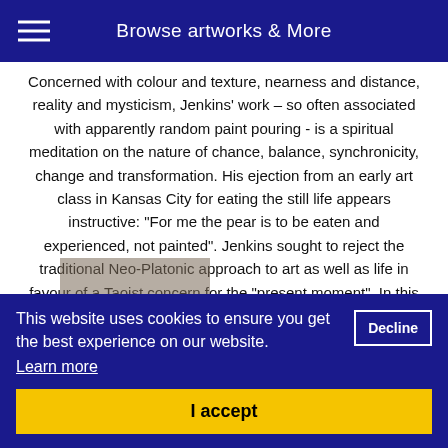Browse artworks & More
Concerned with colour and texture, nearness and distance, reality and mysticism, Jenkins' work – so often associated with apparently random paint pouring - is a spiritual meditation on the nature of chance, balance, synchronicity, change and transformation. His ejection from an early art class in Kansas City for eating the still life appears instructive: "For me the pear is to be eaten and experienced, not painted". Jenkins sought to reject the traditional Neo-Platonic approach to art as well as life in favour of a Taoist concern for the "present moment". In this sense his paintings become spiritual reflections on the transitory present, life merely a rippled dance upon the water's surface. The classic Taoist metaphor of moving water is, for example,
explored in Jenkins' Sea Escape (1961), a key work on paper
and meaning
This website uses cookies to ensure you get the best experience on our website. Learn more
Decline
I accept